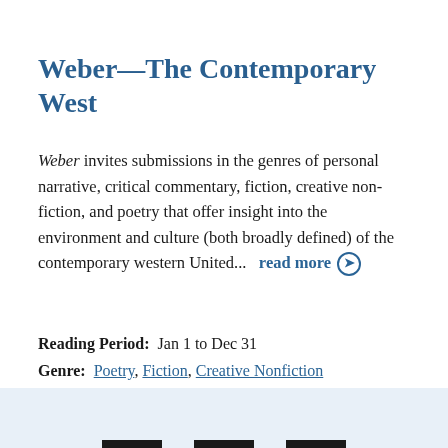Weber—The Contemporary West
Weber invites submissions in the genres of personal narrative, critical commentary, fiction, creative nonfiction, and poetry that offer insight into the environment and culture (both broadly defined) of the contemporary western United...   read more →
Reading Period:  Jan 1 to Dec 31
Genre:  Poetry, Fiction, Creative Nonfiction
Genres:  Nature/Environmental, Regional